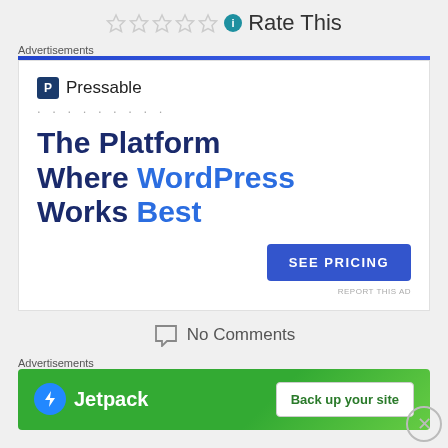Rate This
Advertisements
[Figure (screenshot): Pressable advertisement: The Platform Where WordPress Works Best, with SEE PRICING button]
No Comments
Advertisements
[Figure (screenshot): Jetpack advertisement: Back up your site]